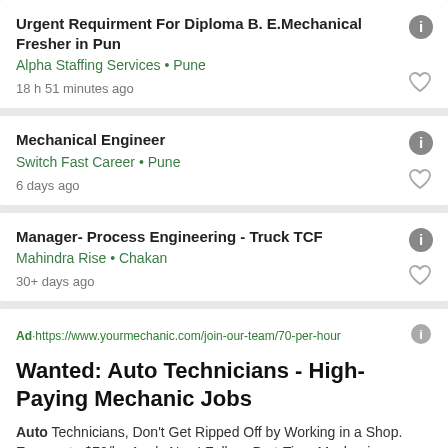Urgent Requirment For Diploma B. E.Mechanical Fresher in Pun
Alpha Staffing Services • Pune
18 h 51 minutes ago
Mechanical Engineer
Switch Fast Career • Pune
6 days ago
Manager- Process Engineering - Truck TCF
Mahindra Rise • Chakan
30+ days ago
Ad • https://www.yourmechanic.com/join-our-team/70-per-hour
Wanted: Auto Technicians - High-Paying Mechanic Jobs
Auto Technicians, Don't Get Ripped Off by Working in a Shop. Earn up to $70/hr. Apply Now! Full- or Part-Time Mechanics,